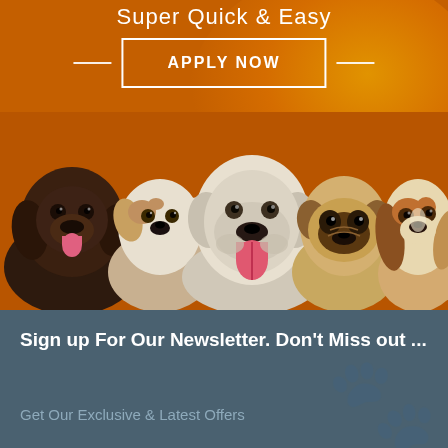Super Quick & Easy
APPLY NOW
[Figure (photo): Five puppies/dogs of different breeds posed together in a row against an orange background: a dark chocolate Labrador, a Jack Russell Terrier, a white English Bulldog with tongue out, a fawn Pug, and a Beagle puppy.]
Sign up For Our Newsletter. Don't Miss out ...
Get Our Exclusive & Latest Offers